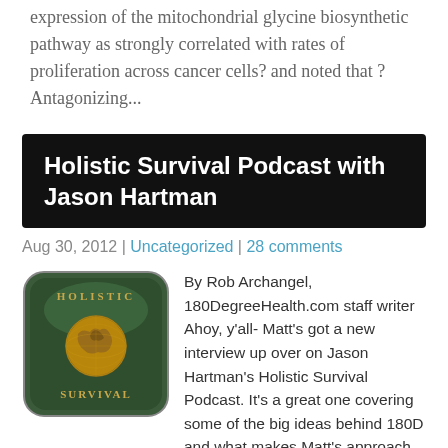expression of the mitochondrial glycine biosynthetic pathway as strongly correlated with rates of proliferation across cancer cells? and noted that ? Antagonizing...
Holistic Survival Podcast with Jason Hartman
Aug 30, 2012 | Uncategorized | 28 comments
[Figure (logo): Holistic Survival podcast logo: dark green rounded square with gold globe and text 'HOLISTIC SURVIVAL']
By Rob Archangel, 180DegreeHealth.com staff writer Ahoy, y'all- Matt's got a new interview up over on Jason Hartman's Holistic Survival Podcast. It's a great one covering some of the big ideas behind 180D and what makes Matt's approach unique and compelling. Especially for those just